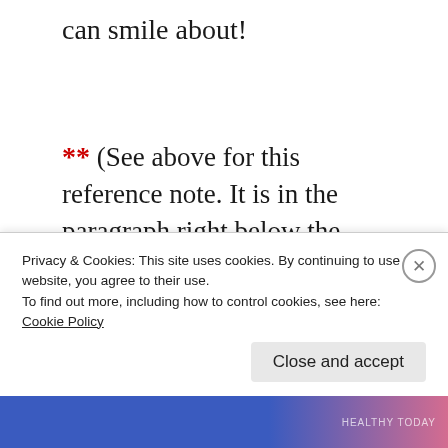can smile about!
** (See above for this reference note. It is in the paragraph right below the picture of Ariana's grave site.  Below is the explanation.)
I was not a Christian at the time. I named
Privacy & Cookies: This site uses cookies. By continuing to use this website, you agree to their use.
To find out more, including how to control cookies, see here:
Cookie Policy
Close and accept